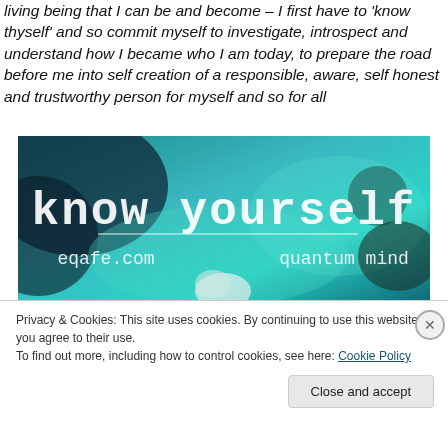'know thyself' and so commit myself to investigate, introspect and understand how I became who I am today, to prepare the road before me into self creation of a responsible, aware, self honest and trustworthy person for myself and so for all
[Figure (illustration): Banner image with teal/blue abstract background. Text reads 'know yourself' in large decorative typewriter-style font. Below: 'eqafe.com' on left and 'quantum mind' on right.]
Privacy & Cookies: This site uses cookies. By continuing to use this website, you agree to their use.
To find out more, including how to control cookies, see here: Cookie Policy